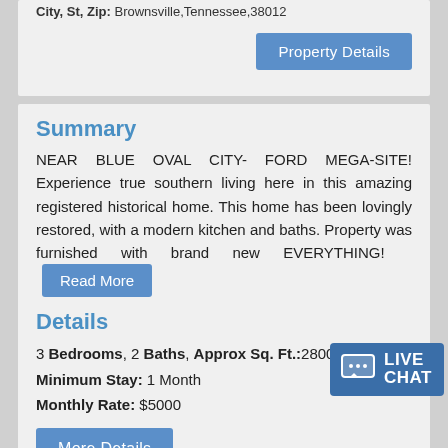City, St, Zip: Brownsville,Tennessee,38012
Summary
NEAR BLUE OVAL CITY- FORD MEGA-SITE! Experience true southern living here in this amazing registered historical home. This home has been lovingly restored, with a modern kitchen and baths. Property was furnished with brand new EVERYTHING! Read More
Details
3 Bedrooms, 2 Baths, Approx Sq. Ft.:2800
Minimum Stay: 1 Month
Monthly Rate: $5000
More Details
« Previous 1 2 3 4 5 6 7 8 9 10 11 12